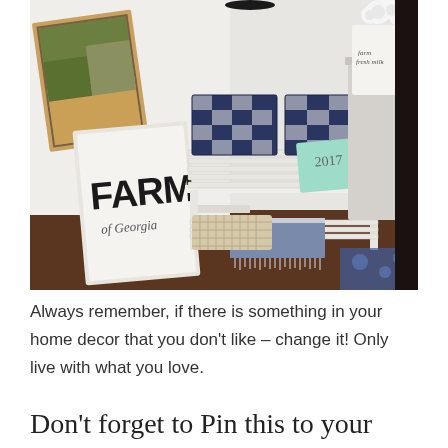[Figure (photo): A farmhouse-style entryway corner with a white slatted bench holding navy buffalo check pillows and a mint green 2017 planner. A framed FARM sign leans against the white wall next to a painted landscape artwork. A bag reading 'farm fresh milk' with white hydrangeas sits on a side table to the right. A blue patterned rug is visible on the dark hardwood floor in the bottom right corner.]
Always remember, if there is something in your home decor that you don't like – change it! Only live with what you love.
Don't forget to Pin this to your